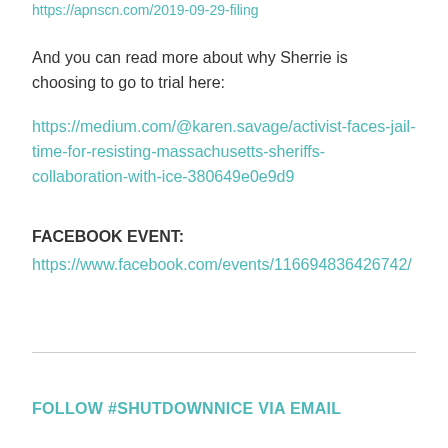https://apnscn.com/2019-09-29-filing
And you can read more about why Sherrie is choosing to go to trial here:
https://medium.com/@karen.savage/activist-faces-jail-time-for-resisting-massachusetts-sheriffs-collaboration-with-ice-380649e0e9d9
FACEBOOK EVENT:
https://www.facebook.com/events/116694836426742/
FOLLOW #SHUTDOWNNICE VIA EMAIL